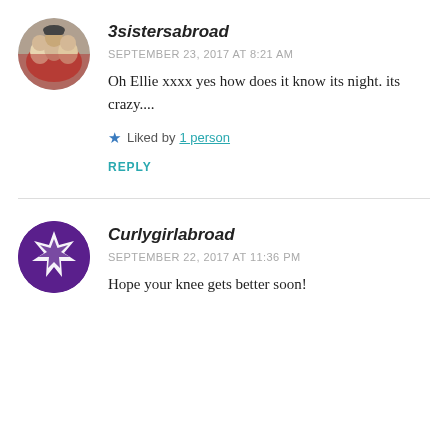[Figure (photo): Circular avatar photo of three women, one wearing a red vest with a badge, outdoors]
3sistersabroad
SEPTEMBER 23, 2017 AT 8:21 AM
Oh Ellie xxxx yes how does it know its night. its crazy....
★ Liked by 1 person
REPLY
[Figure (logo): Circular avatar with purple and white geometric star/snowflake pattern on dark purple background]
Curlygirlabroad
SEPTEMBER 22, 2017 AT 11:36 PM
Hope your knee gets better soon!